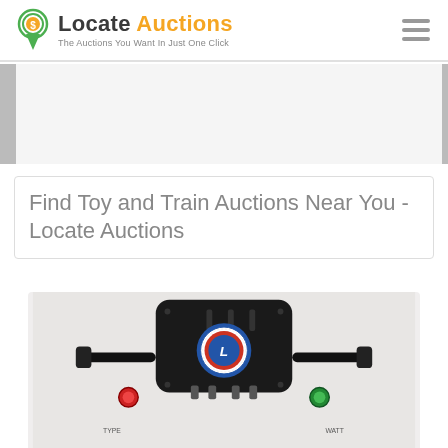Locate Auctions — The Auctions You Want In Just One Click
Find Toy and Train Auctions Near You - Locate Auctions
[Figure (photo): Close-up photo of a vintage Lionel train transformer/controller, black metal body with a circular blue and orange Lionel logo/badge on top, red and green control buttons and black lever handles on the sides, shot from overhead on a light gray background.]